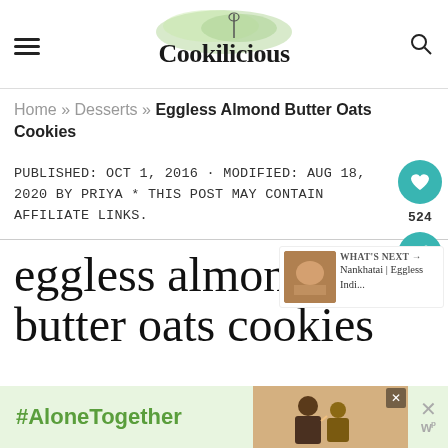Cookilicious
Home » Desserts » Eggless Almond Butter Oats Cookies
PUBLISHED: OCT 1, 2016 · MODIFIED: AUG 18, 2020 BY PRIYA * THIS POST MAY CONTAIN AFFILIATE LINKS.
eggless almond butter oats cookies
[Figure (screenshot): Advertisement banner with #AloneTogether text and photo of people]
[Figure (screenshot): What's Next widget showing Nankhatai | Eggless Indi...]